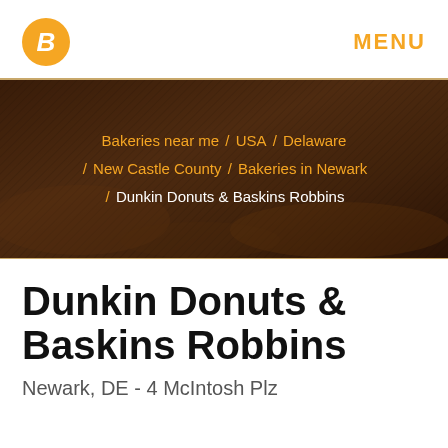[Figure (logo): Orange circle with white italic B letter logo]
MENU
[Figure (photo): Dark brown bakery hero banner with breadcrumb navigation showing: Bakeries near me / USA / Delaware / New Castle County / Bakeries in Newark / Dunkin Donuts & Baskins Robbins]
Dunkin Donuts & Baskins Robbins
Newark, DE - 4 McIntosh Plz